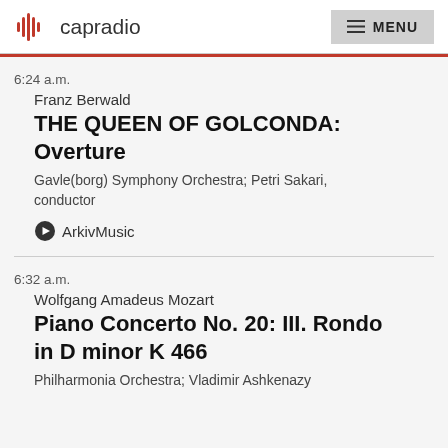capradio  MENU
6:24 a.m.
Franz Berwald
THE QUEEN OF GOLCONDA: Overture
Gavle(borg) Symphony Orchestra; Petri Sakari, conductor
ArkivMusic
6:32 a.m.
Wolfgang Amadeus Mozart
Piano Concerto No. 20: III. Rondo in D minor K 466
Philharmonia Orchestra; Vladimir Ashkenazy